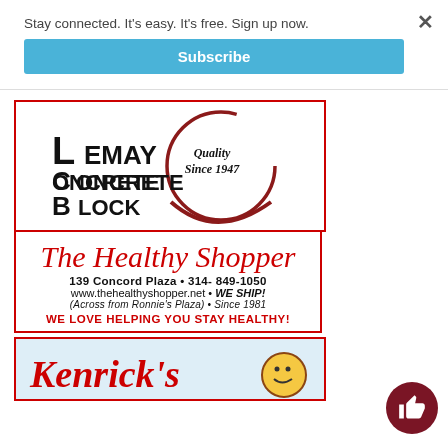Stay connected. It's easy. It's free. Sign up now.
Subscribe
[Figure (logo): LeMay Concrete Block logo with circular swoosh and text 'Quality Since 1947']
[Figure (illustration): The Healthy Shopper advertisement: 139 Concord Plaza • 314-849-1050, www.thehealthyshopper.net • WE SHIP!, (Across from Ronnie's Plaza) • Since 1981, WE LOVE HELPING YOU STAY HEALTHY!]
[Figure (illustration): Kenrick's advertisement (partially visible), light blue background with red cursive script logo and cartoon character]